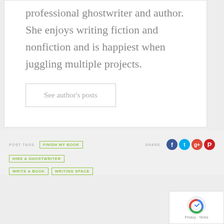professional ghostwriter and author. She enjoys writing fiction and nonfiction and is happiest when juggling multiple projects.
See author's posts
POST TAGS   FINISH MY BOOK   HIRE A GHOSTWRITER   WRITE A BOOK   WRITING SPACE   SHARE
[Figure (other): Social share icons: Facebook (blue circle), Twitter (light blue circle), Google+ (red circle), Pinterest (red circle)]
[Figure (other): reCAPTCHA badge with Privacy and Terms links]